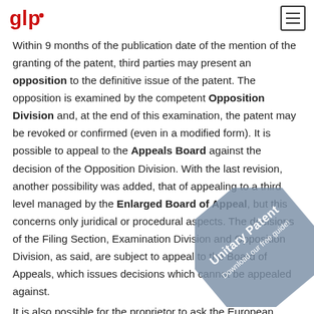glp logo and navigation menu
Within 9 months of the publication date of the mention of the granting of the patent, third parties may present an opposition to the definitive issue of the patent. The opposition is examined by the competent Opposition Division and, at the end of this examination, the patent may be revoked or confirmed (even in a modified form). It is possible to appeal to the Appeals Board against the decision of the Opposition Division. With the last revision, another possibility was added, that of appealing to a third level managed by the Enlarged Board of Appeal, but this concerns only juridical or procedural aspects. The decisions of the Filing Section, Examination Division and Opposition Division, as said, are subject to appeal to the Board of Appeals, which issues decisions which cannot be appealed against.
It is also possible for the proprietor to ask the European Patent Office to limit his European Patent to one or more...